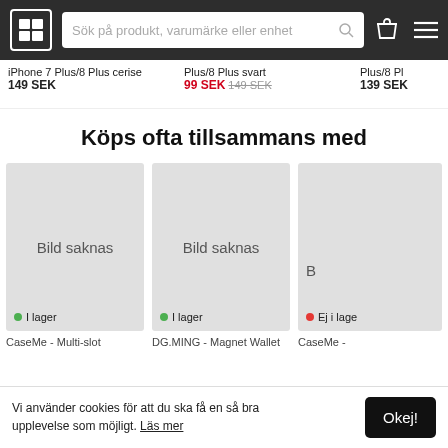Sök på produkt, varumärke eller enhet
iPhone 7 Plus/8 Plus cerise
149 SEK
Plus/8 Plus svart
99 SEK 149 SEK
Plus/8 Pl
139 SEK
Köps ofta tillsammans med
[Figure (photo): Product image placeholder - Bild saknas, I lager]
CaseMe - Multi-slot
[Figure (photo): Product image placeholder - Bild saknas, I lager]
DG.MING - Magnet Wallet
[Figure (photo): Product image placeholder - B..., Ej i lager]
CaseMe -
Vi använder cookies för att du ska få en så bra upplevelse som möjligt. Läs mer
Okej!